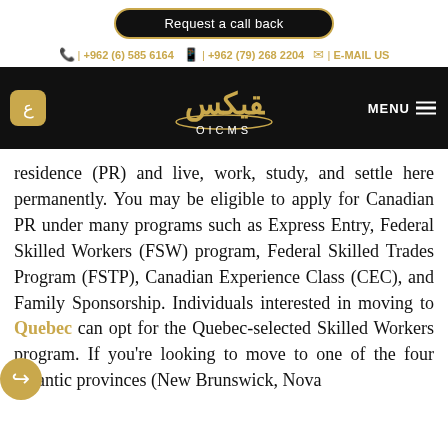Request a call back
📞 | +962 (6) 585 6164  📱 | +962 (79) 268 2204  ✉ | E-MAIL US
[Figure (logo): QICMS logo with Arabic text in gold and white letters on black background, with Arabic language toggle button and MENU button]
residence (PR) and live, work, study, and settle here permanently. You may be eligible to apply for Canadian PR under many programs such as Express Entry, Federal Skilled Workers (FSW) program, Federal Skilled Trades Program (FSTP), Canadian Experience Class (CEC), and Family Sponsorship. Individuals interested in moving to Quebec can opt for the Quebec-selected Skilled Workers program. If you're looking to move to one of the four Atlantic provinces (New Brunswick, Nova Scotia, Newfoundland and Labrador,